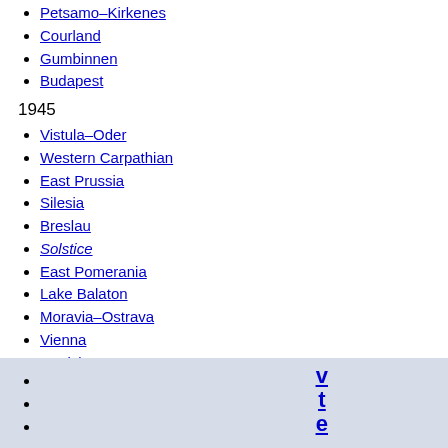Petsamo–Kirkenes
Courland
Gumbinnen
Budapest
1945
Vistula–Oder
Western Carpathian
East Prussia
Silesia
Breslau
Solstice
East Pomerania
Lake Balaton
Moravia–Ostrava
Vienna
Bratislava–Brno
Berlin
Prague